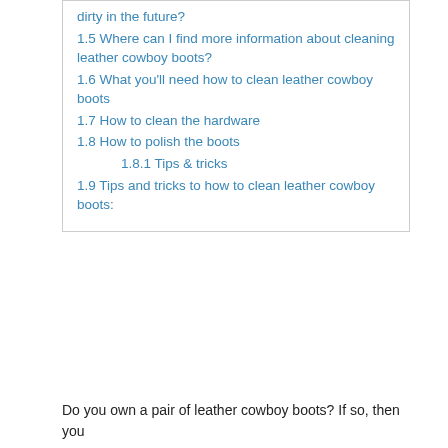dirty in the future?
1.5 Where can I find more information about cleaning leather cowboy boots?
1.6 What you'll need how to clean leather cowboy boots
1.7 How to clean the hardware
1.8 How to polish the boots
1.8.1 Tips & tricks
1.9 Tips and tricks to how to clean leather cowboy boots:
Do you own a pair of leather cowboy boots? If so, then you